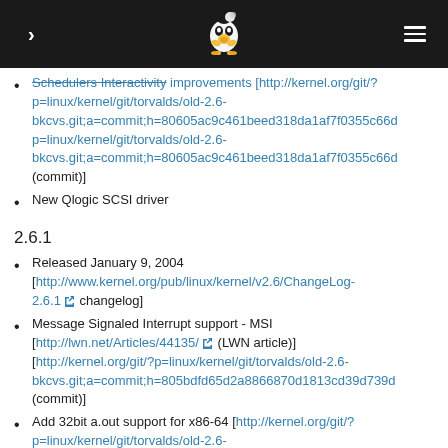Linux kernel version history wiki page header
Schedulers Interactivity improvements [http://kernel.org/git/?p=linux/kernel/git/torvalds/old-2.6-bkcvs.git;a=commit;h=80605ac9c461beed318da1af7f0355c66d (commit)]
New Qlogic SCSI driver
2.6.1
Released January 9, 2004 [http://www.kernel.org/pub/linux/kernel/v2.6/ChangeLog-2.6.1 changelog]
Message Signaled Interrupt support - MSI [http://lwn.net/Articles/44135/ (LWN article)] [http://kernel.org/git/?p=linux/kernel/git/torvalds/old-2.6-bkcvs.git;a=commit;h=805bdfd65d2a8866870d1813cd39d739d (commit)]
Add 32bit a.out support for x86-64 [http://kernel.org/git/?p=linux/kernel/git/torvalds/old-2.6-bkcvs.git;a=commit;h=dabe6cb0fc24dd4d3ee5b51c99f551a883 (commit)]